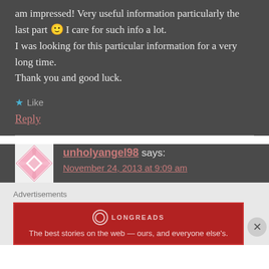am impressed! Very useful information particularly the last part 🙂 I care for such info a lot. I was looking for this particular information for a very long time. Thank you and good luck.
★ Like
Reply
unholyangel98 says:
November 24, 2013 at 9:09 am
Advertisements
[Figure (other): Longreads advertisement banner: red background with Longreads logo and tagline 'The best stories on the web — ours, and everyone else's.']